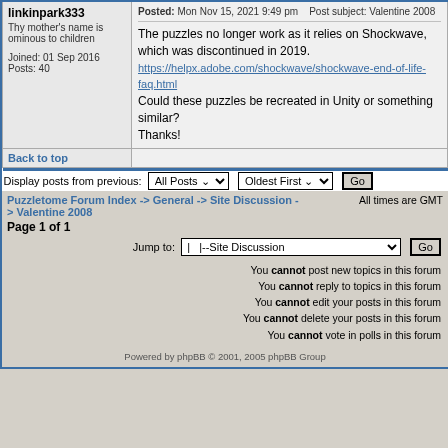linkinpark333
Thy mother's name is ominous to children

Joined: 01 Sep 2016
Posts: 40
Posted: Mon Nov 15, 2021 9:49 pm   Post subject: Valentine 2008
The puzzles no longer work as it relies on Shockwave, which was discontinued in 2019.
https://helpx.adobe.com/shockwave/shockwave-end-of-life-faq.html
Could these puzzles be recreated in Unity or something similar?
Thanks!
Back to top
Display posts from previous:  All Posts   Oldest First   Go
Puzzletome Forum Index -> General -> Site Discussion -> Valentine 2008   All times are GMT
Page 1 of 1
Jump to:  | |--Site Discussion   Go
You cannot post new topics in this forum
You cannot reply to topics in this forum
You cannot edit your posts in this forum
You cannot delete your posts in this forum
You cannot vote in polls in this forum
Powered by phpBB © 2001, 2005 phpBB Group